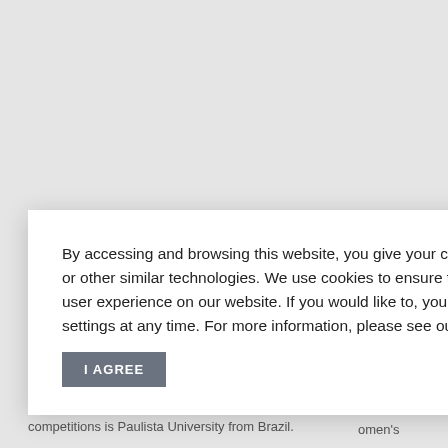[Figure (screenshot): Background of a web page partially visible behind a cookie consent modal dialog. The background shows a light grey page with partial text visible on the right side ('y, Brazil', 'ed their', 'alifying', 'Here in', 'om 21', 'at has', 'omen’s') and at the bottom ('competitions is Paulista University from Brazil.').]
By accessing and browsing this website, you give your consent to the use of cookies or other similar technologies. We use cookies to ensure that we give you the best user experience on our website. If you would like to, you can change your cookies settings at any time. For more information, please see our data protection policy.
I AGREE